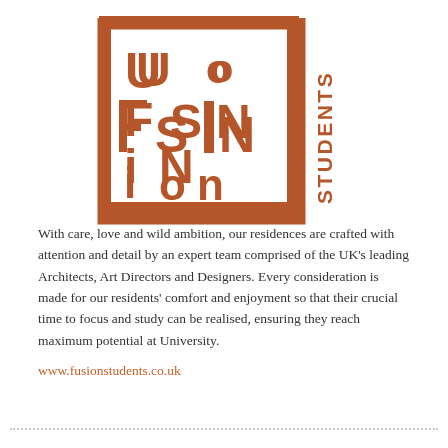[Figure (logo): Fusion Students logo: a square border in rust/brown color containing stylized letters 'FUSION' arranged with vertical orientation, and 'STUDENTS' written vertically to the right of the square.]
With care, love and wild ambition, our residences are crafted with attention and detail by an expert team comprised of the UK’s leading Architects, Art Directors and Designers. Every consideration is made for our residents’ comfort and enjoyment so that their crucial time to focus and study can be realised, ensuring they reach maximum potential at University.
www.fusionstudents.co.uk